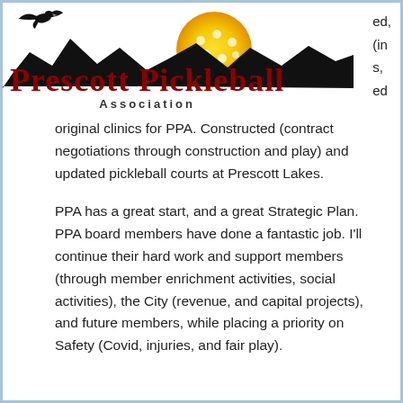[Figure (logo): Prescott Pickleball Association logo with mountain silhouette, eagle, and yellow sun with pickleball]
ed,
(in
s,
ed
original clinics for PPA. Constructed (contract negotiations through construction and play) and updated pickleball courts at Prescott Lakes.
PPA has a great start, and a great Strategic Plan. PPA board members have done a fantastic job. I'll continue their hard work and support members (through member enrichment activities, social activities), the City (revenue, and capital projects), and future members, while placing a priority on Safety (Covid, injuries, and fair play).